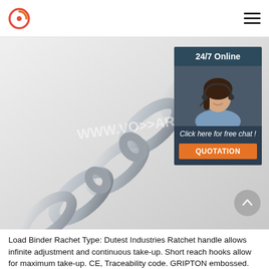www.vosariging.com
[Figure (photo): Close-up photo of galvanized steel chain links on white background with www.vosariging.com watermark. Shows multiple oval chain links connected together, silver/zinc coated finish.]
[Figure (infographic): 24/7 Online chat widget showing a customer service representative (woman with headset, smiling) with dark blue background, text: '24/7 Online', 'Click here for free chat!', and orange QUOTATION button.]
Load Binder Rachet Type: Dutest Industries Ratchet handle allows infinite adjustment and continuous take-up. Short reach hooks allow for maximum take-up. CE, Traceability code. GRIPTON embossed. Standard: EN 12195